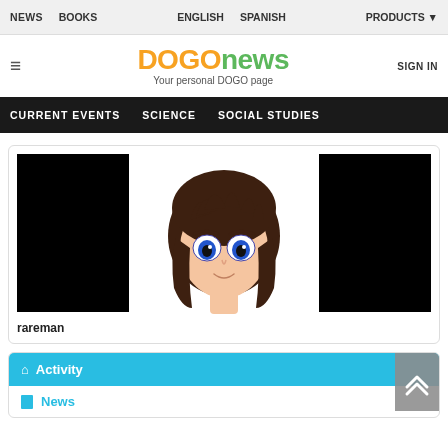NEWS  BOOKS  ENGLISH  SPANISH  PRODUCTS
[Figure (logo): DOGOnews logo with orange DOGO and green news text, tagline: Your personal DOGO page]
SIGN IN
CURRENT EVENTS  SCIENCE  SOCIAL STUDIES
[Figure (illustration): Profile page showing anime-style avatar with dark hair and blue eyes, flanked by two black image boxes. Username: rareman]
rareman
Activity
News